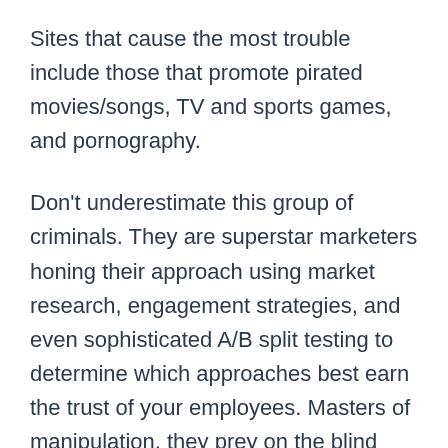Sites that cause the most trouble include those that promote pirated movies/songs, TV and sports games, and pornography.
Don't underestimate this group of criminals. They are superstar marketers honing their approach using market research, engagement strategies, and even sophisticated A/B split testing to determine which approaches best earn the trust of your employees. Masters of manipulation, they prey on the blind trust and predictable digital habits of the public to earn a living. The average ransom charged ranges from $300 for home computer users to thousands for corporate victims. Roughly 23% of users click through phishing emails and 10% download files,